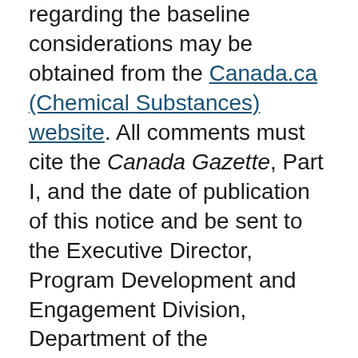regarding the baseline considerations may be obtained from the Canada.ca (Chemical Substances) website. All comments must cite the Canada Gazette, Part I, and the date of publication of this notice and be sent to the Executive Director, Program Development and Engagement Division, Department of the Environment, Gatineau, Quebec K1A 0H3, by fax to 819-938-5212, by email to eccc.substances.eccc@canada.ca, or by using the online reporting system available through Environment and Climate Change Canada's Single Window.
In accordance with section 313 of the